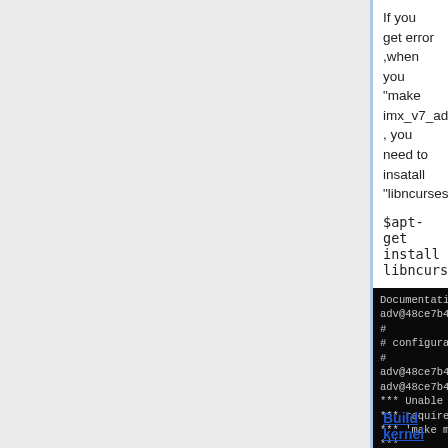If you get error ,when you "make imx_v7_adv_imx7_defconfig" , you need to insatall "libncurses*"
$apt-get install libncurses*
[Figure (screenshot): Terminal/console screenshot showing Linux kernel configuration output with error messages about missing ncurses header files and make menuconfig failure]
Build kernel